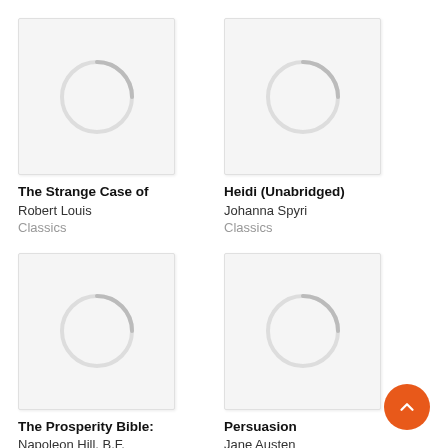[Figure (illustration): Book cover placeholder with loading spinner circle for 'The Strange Case of']
The Strange Case of
Robert Louis
Classics
[Figure (illustration): Book cover placeholder with loading spinner circle for 'Heidi (Unabridged)']
Heidi (Unabridged)
Johanna Spyri
Classics
[Figure (illustration): Book cover placeholder with loading spinner circle for 'The Prosperity Bible:']
The Prosperity Bible:
Napoleon Hill, B.F.
[Figure (illustration): Book cover placeholder with loading spinner circle for 'Persuasion']
Persuasion
Jane Austen